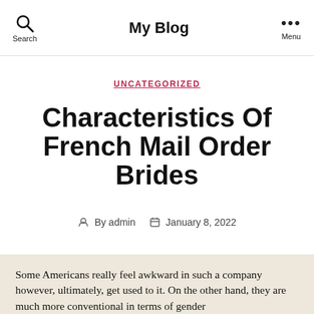My Blog
UNCATEGORIZED
Characteristics Of French Mail Order Brides
By admin   January 8, 2022
Some Americans really feel awkward in such a company however, ultimately, get used to it. On the other hand, they are much more conventional in terms of gender